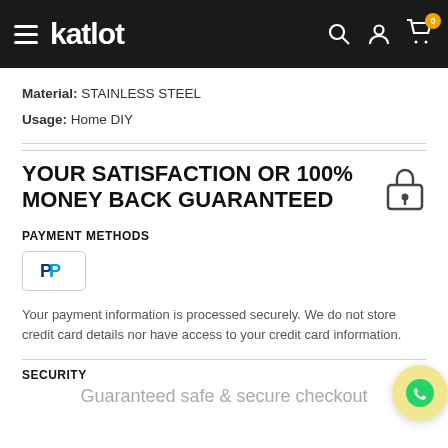katlot
Material: STAINLESS STEEL
Usage: Home DIY
YOUR SATISFACTION OR 100% MONEY BACK GUARANTEED
PAYMENT METHODS
[Figure (logo): PayPal logo button]
Your payment information is processed securely. We do not store credit card details nor have access to your credit card information.
SECURITY
Guaranteed safe & secure checkout